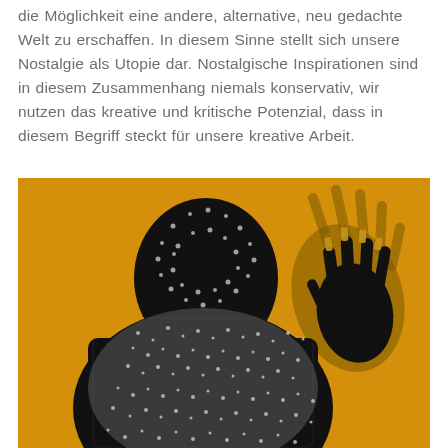die Möglichkeit eine andere, alternative, neu gedachte Welt zu erschaffen. In diesem Sinne stellt sich unsere Nostalgie als Utopie dar. Nostalgische Inspirationen sind in diesem Zusammenhang niemals konservativ, wir nutzen das kreative und kritische Potenzial, dass in diesem Begriff steckt für unsere kreative Arbeit.
[Figure (photo): A person viewed from behind with a completely black body covered in silver metallic beads/studs, wearing a glittery sequined top. They are raising one hand against a bright yellow/amber background. The hand has long black nails adorned with gold chains.]